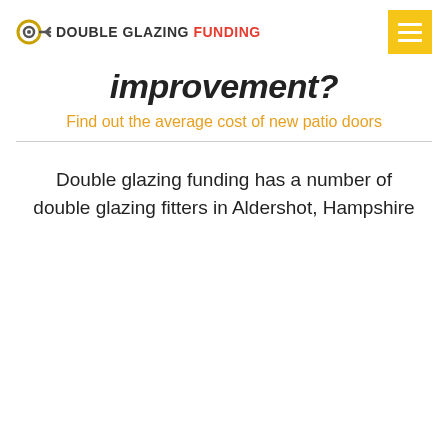DOUBLE GLAZING FUNDING
improvement?
Find out the average cost of new patio doors
Double glazing funding has a number of double glazing fitters in Aldershot, Hampshire